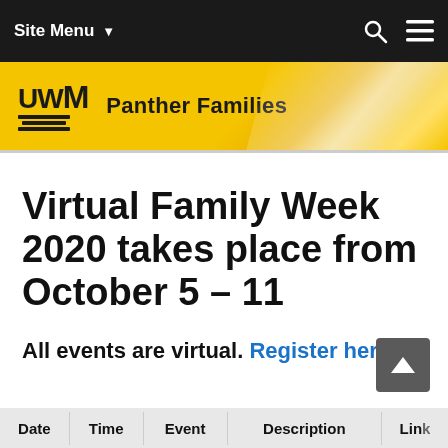Site Menu
[Figure (logo): UWM Panther Families logo with gold banner header]
Virtual Family Week 2020 takes place from October 5 – 11
All events are virtual. Register here.
| Date | Time | Event | Description | Link |
| --- | --- | --- | --- | --- |